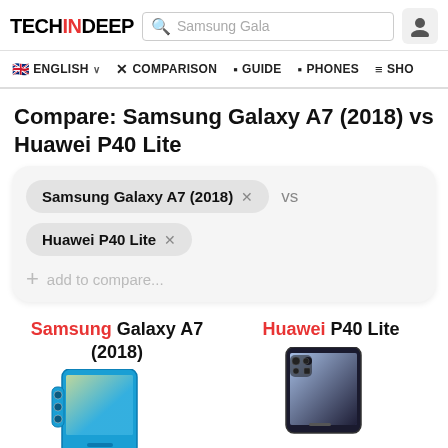TECHINDEEP — Samsung Gala [search bar] — user icon
🇬🇧 ENGLISH ∨  ✗ COMPARISON  ▪ GUIDE  ▪ PHONES  ≡ SHO
Compare: Samsung Galaxy A7 (2018) vs Huawei P40 Lite
Samsung Galaxy A7 (2018) × vs
Huawei P40 Lite ×
+ add to compare...
Samsung Galaxy A7 (2018)
Huawei P40 Lite
[Figure (photo): Samsung Galaxy A7 (2018) smartphone image]
[Figure (photo): Huawei P40 Lite smartphone image]